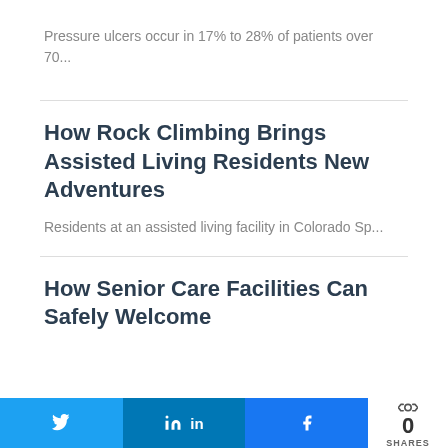Pressure ulcers occur in 17% to 28% of patients over 70...
How Rock Climbing Brings Assisted Living Residents New Adventures
Residents at an assisted living facility in Colorado Sp...
How Senior Care Facilities Can Safely Welcome
Twitter share | LinkedIn share | Facebook share | 0 SHARES